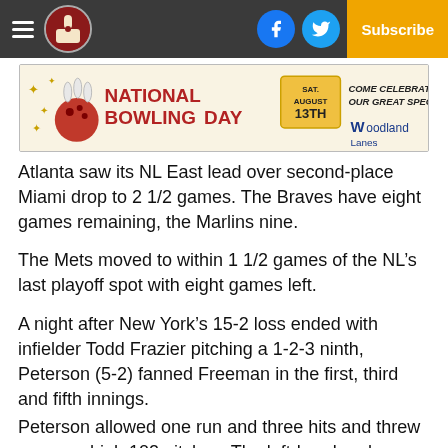Navigation header with hamburger menu, logo, Facebook and Twitter buttons, and Subscribe button
[Figure (photo): National Bowling Day advertisement banner: Sat. August 13th, Come Celebrate Our Great Specials! Woodland Lanes]
Atlanta saw its NL East lead over second-place Miami drop to 2 1/2 games. The Braves have eight games remaining, the Marlins nine.
The Mets moved to within 1 1/2 games of the NL’s last playoff spot with eight games left.
A night after New York’s 15-2 loss ended with infielder Todd Frazier pitching a 1-2-3 ninth, Peterson (5-2) fanned Freeman in the first, third and fifth innings.
Peterson allowed one run and three hits and threw a career-high 102 pitches. The left-hander also
[Figure (photo): Piedmont Green CBD advertisement: Use Coupon Code FIRST25, Receive 25% OFF your first purchase of any cbd oil or pain cream. We Provide Locally Grown Organic Hemp Products! 350 Clover leaf Parkway Kannapolis, NC 28083 | 904-504-4321 Visit us online at: www.piedmontgreencbd.com]